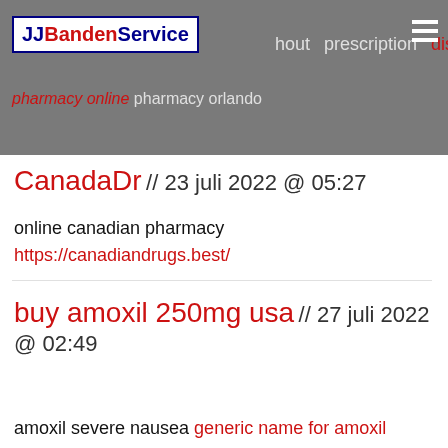JJBandenService  hout  prescription  discount
pharmacy online  pharmacy orlando
CanadaDr // 23 juli 2022 @ 05:27
online canadian pharmacy https://canadiandrugs.best/
buy amoxil 250mg usa // 27 juli 2022 @ 02:49
amoxil severe nausea  generic name for amoxil